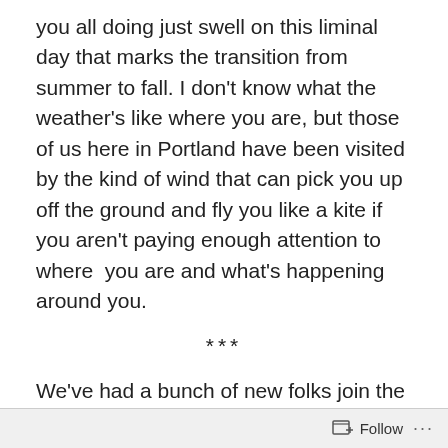you all doing just swell on this liminal day that marks the transition from summer to fall. I don't know what the weather's like where you are, but those of us here in Portland have been visited by the kind of wind that can pick you up off the ground and fly you like a kite if you aren't paying enough attention to where  you are and what's happening around you.
***
We've had a bunch of new folks join the Gero-Punk Project in the past couple of weeks (thanks to guest Gero-punks Larry and Velda, whose great essays attracted quite a lot of attention). So, let me take this moment to say hello to you new folks and thank you for your interest in what we are up to.
Follow ···